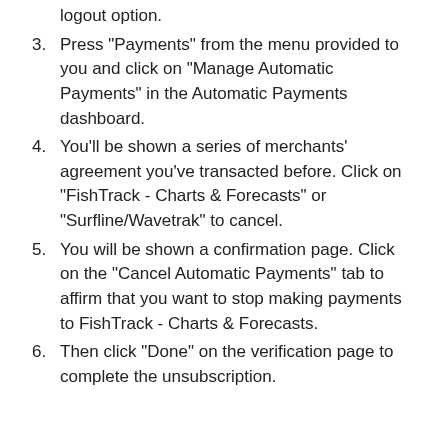Click on the Settings tab which is beside the logout option.
Press "Payments" from the menu provided to you and click on "Manage Automatic Payments" in the Automatic Payments dashboard.
You'll be shown a series of merchants' agreement you've transacted before. Click on "FishTrack - Charts & Forecasts" or "Surfline/Wavetrak" to cancel.
You will be shown a confirmation page. Click on the "Cancel Automatic Payments" tab to affirm that you want to stop making payments to FishTrack - Charts & Forecasts.
Then click "Done" on the verification page to complete the unsubscription.